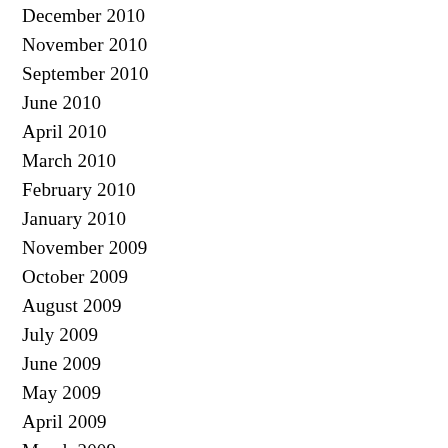December 2010
November 2010
September 2010
June 2010
April 2010
March 2010
February 2010
January 2010
November 2009
October 2009
August 2009
July 2009
June 2009
May 2009
April 2009
March 2009